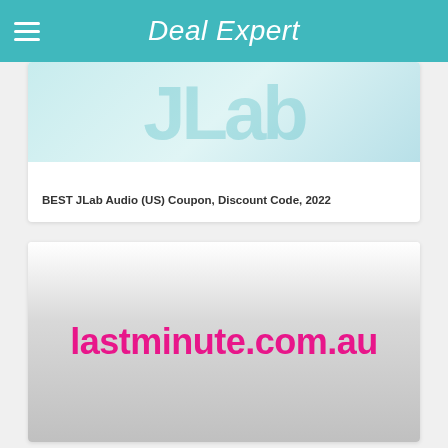Deal Expert
[Figure (logo): JLab Audio logo watermark in teal card with text 'BEST JLab Audio (US) Coupon, Discount Code, 2022']
BEST JLab Audio (US) Coupon, Discount Code, 2022
[Figure (logo): lastminute.com.au logo in pink bold text on gradient grey-white background]